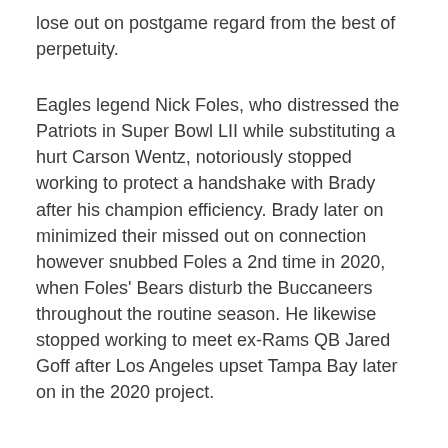lose out on postgame regard from the best of perpetuity.
Eagles legend Nick Foles, who distressed the Patriots in Super Bowl LII while substituting a hurt Carson Wentz, notoriously stopped working to protect a handshake with Brady after his champion efficiency. Brady later on minimized their missed out on connection however snubbed Foles a 2nd time in 2020, when Foles' Bears disturb the Buccaneers throughout the routine season. He likewise stopped working to meet ex-Rams QB Jared Goff after Los Angeles upset Tampa Bay later on in the 2020 project.